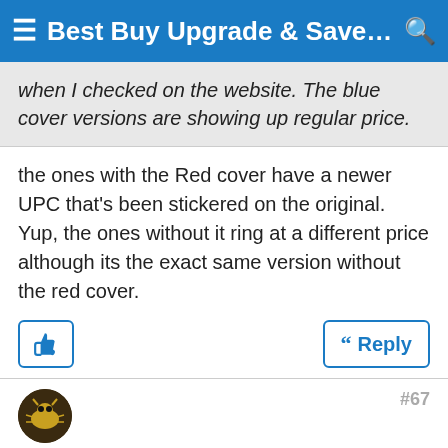≡ Best Buy Upgrade & Save, $5 O... 🔍
when I checked on the website. The blue cover versions are showing up regular price.
the ones with the Red cover have a newer UPC that's been stickered on the original. Yup, the ones without it ring at a different price although its the exact same version without the red cover.
👍  [Reply]
ProfessorEcho , 04-22-12 04:14 PM
DVD Talk Gold Edition
Re: Best Buy Upgrade & Save, $5 Off Blu-ray titles, Apr 22 - May 12, 2012
Quote:
Originally Posted by walletboyniac
Has anybody seen The Good, The Bad, The Weird?